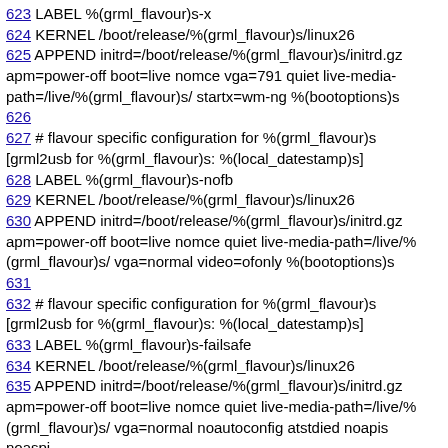623 LABEL  %(grml_flavour)s-x
624 KERNEL /boot/release/%(grml_flavour)s/linux26
625 APPEND initrd=/boot/release/%(grml_flavour)s/initrd.gz apm=power-off boot=live nomce vga=791 quiet live-media-path=/live/%(grml_flavour)s/ startx=wm-ng %(bootoptions)s
626
627 # flavour specific configuration for %(grml_flavour)s [grml2usb for %(grml_flavour)s: %(local_datestamp)s]
628 LABEL  %(grml_flavour)s-nofb
629 KERNEL /boot/release/%(grml_flavour)s/linux26
630 APPEND initrd=/boot/release/%(grml_flavour)s/initrd.gz apm=power-off boot=live nomce quiet live-media-path=/live/%(grml_flavour)s/ vga=normal video=ofonly %(bootoptions)s
631
632 # flavour specific configuration for %(grml_flavour)s [grml2usb for %(grml_flavour)s: %(local_datestamp)s]
633 LABEL  %(grml_flavour)s-failsafe
634 KERNEL /boot/release/%(grml_flavour)s/linux26
635 APPEND initrd=/boot/release/%(grml_flavour)s/initrd.gz apm=power-off boot=live nomce quiet live-media-path=/live/%(grml_flavour)s/ vga=normal noautoconfig atstdied noapis noaspi...